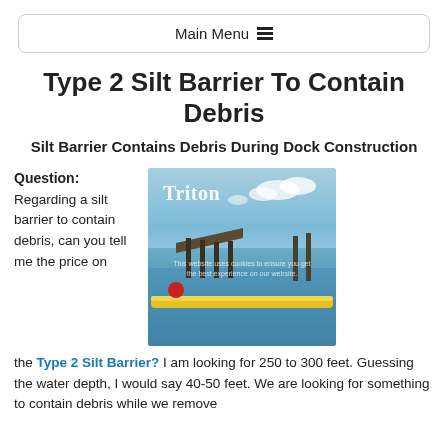Main Menu ≡
Type 2 Silt Barrier To Contain Debris
Silt Barrier Contains Debris During Dock Construction
Question: Regarding a silt barrier to contain debris, can you tell me the price on the Type 2 Silt Barrier? I am looking for 250 to 300 feet. Guessing the water depth, I would say 40-50 feet. We are looking for something to contain debris while we remove
[Figure (photo): Photograph of a Triton-branded yellow silt barrier/turbidity curtain deployed in a water body around a dock construction site, with blue sky and clouds, and a red buoy visible. A cookie consent overlay is partially visible.]